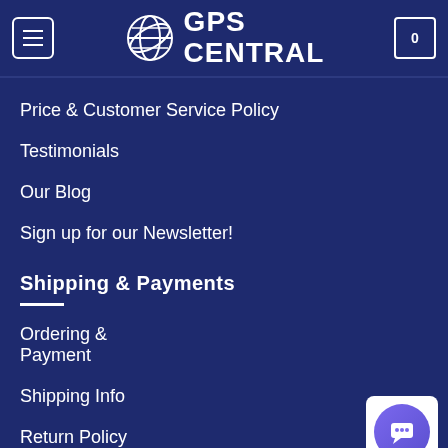GPS CENTRAL
Price & Customer Service Policy
Testimonials
Our Blog
Sign up for our Newsletter!
Shipping & Payments
Ordering & Payment
Shipping Info
Return Policy